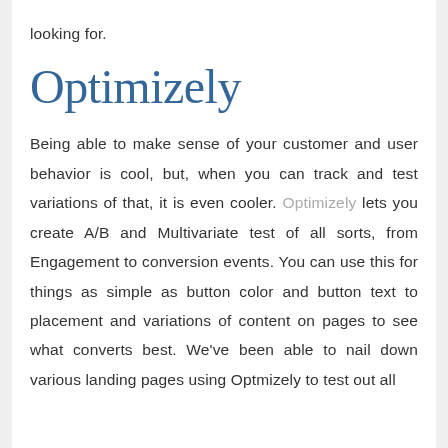looking for.
Optimizely
Being able to make sense of your customer and user behavior is cool, but, when you can track and test variations of that, it is even cooler. Optimizely lets you create A/B and Multivariate test of all sorts, from Engagement to conversion events. You can use this for things as simple as button color and button text to placement and variations of content on pages to see what converts best. We've been able to nail down various landing pages using Optmizely to test out all